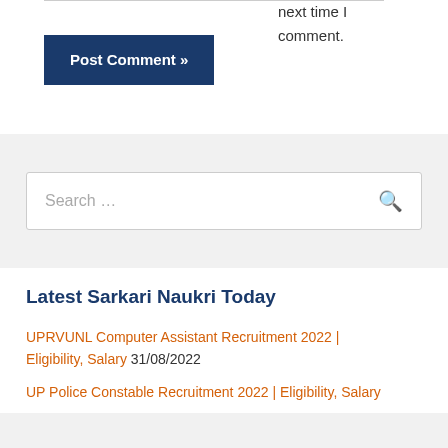next time I comment.
Post Comment »
Search …
Latest Sarkari Naukri Today
UPRVUNL Computer Assistant Recruitment 2022 | Eligibility, Salary 31/08/2022
UP Police Constable Recruitment 2022 | Eligibility, Salary